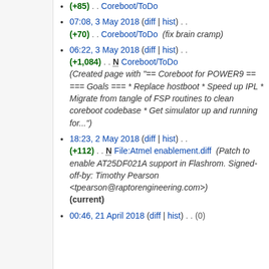(+85) . . Coreboot/ToDo
07:08, 3 May 2018 (diff | hist) . . (+70) . . Coreboot/ToDo (fix brain cramp)
06:22, 3 May 2018 (diff | hist) . . (+1,084) . . N Coreboot/ToDo (Created page with "== Coreboot for POWER9 == === Goals === * Replace hostboot * Speed up IPL * Migrate from tangle of FSP routines to clean coreboot codebase * Get simulator up and running for...")
18:23, 2 May 2018 (diff | hist) . . (+112) . . N File:Atmel enablement.diff (Patch to enable AT25DF021A support in Flashrom. Signed-off-by: Timothy Pearson <tpearson@raptorengineering.com>) (current)
00:46, 21 April 2018 (diff | hist) . . (0)